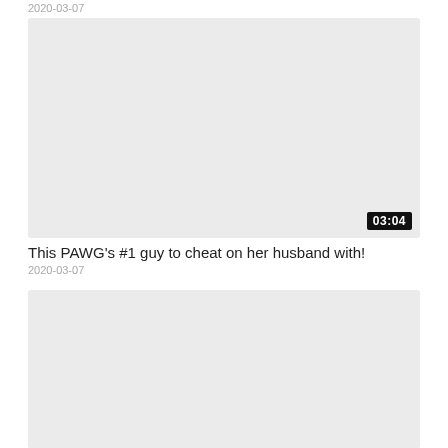2020-03-07
[Figure (photo): Video thumbnail placeholder, light gray, with duration badge showing 03:04]
This PAWG's #1 guy to cheat on her husband with!
2020-03-07
[Figure (photo): Video thumbnail placeholder, light gray, partially visible at bottom of page]